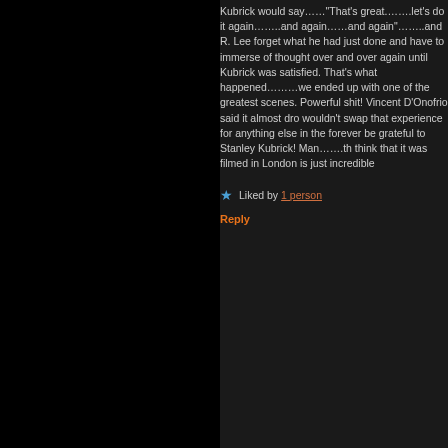Kubrick would say……"That's great.…….let's do it again……..and again……and again"……..and R. Lee forgot what he had just done and have to immerse of thought over and over again until Kubrick was satisfied. That's what happened………we ended up with one of the greatest scenes. Powerful shit! Vincent D'Onofrio said it almost drove him mad but he wouldn't swap that experience for anything else in the world. I will forever be grateful to Stanley Kubrick! Man…….the fact that you think that it was filmed in London is just incredible.
Liked by 1 person
Reply
Mark Walker Says: August 12, 2016 at 9:14 pm
It was a film of two halves for me. When it moves to Vietnam, it's still good stuff but the first half in the barracks is soooo good that the second suffers. R. Lee Ermey is absolutely phenomenal.
Like
Advertisements
Build a writing habit. Post on the go.
GET THE APP